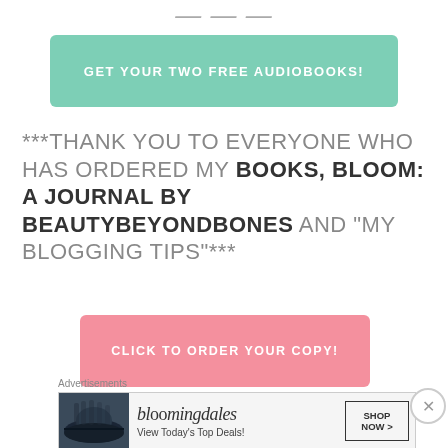...
GET YOUR TWO FREE AUDIOBOOKS!
***THANK YOU TO EVERYONE WHO HAS ORDERED MY BOOKS, BLOOM: A JOURNAL BY BEAUTYBEYONDBONES AND "MY BLOGGING TIPS"***
CLICK TO ORDER YOUR COPY!
Advertisements
[Figure (other): Bloomingdale's advertisement banner with logo, 'View Today's Top Deals!' text, SHOP NOW button, and woman wearing wide-brim hat]